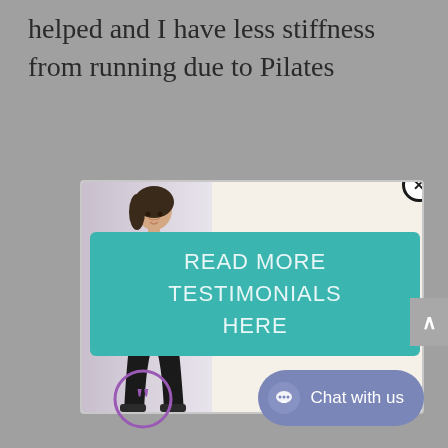helped and I have less stiffness from running due to Pilates
[Figure (infographic): Advertisement banner showing a woman holding a purple yoga mat, with text 'FREE Pilates Pack - Stay Fit and Healthy From Home' and a teal call-to-action button. A close (X) button is in the top right corner.]
READ MORE TESTIMONIALS HERE
[Figure (other): Purple quotation mark icon in a circle]
Chat with us